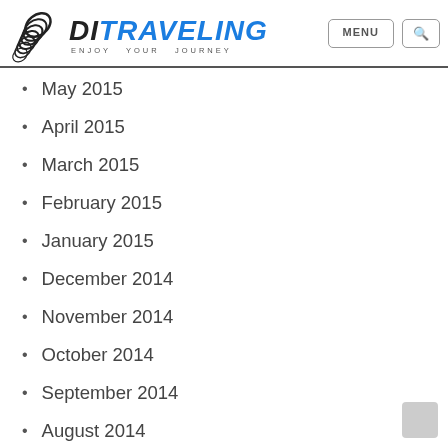DI TRAVELING - ENJOY YOUR JOURNEY
May 2015
April 2015
March 2015
February 2015
January 2015
December 2014
November 2014
October 2014
September 2014
August 2014
July 2014
Categories